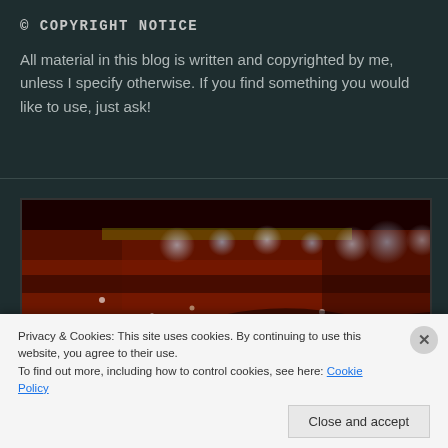© COPYRIGHT NOTICE
All material in this blog is written and copyrighted by me, unless I specify otherwise. If you find something you would like to use, just ask!
[Figure (photo): A dark reddish/brown image, appears to be a blurry nighttime or close-up macro photo with bokeh light spots (blue and white circles) visible at the top and scattered bright spots throughout.]
Privacy & Cookies: This site uses cookies. By continuing to use this website, you agree to their use.
To find out more, including how to control cookies, see here: Cookie Policy